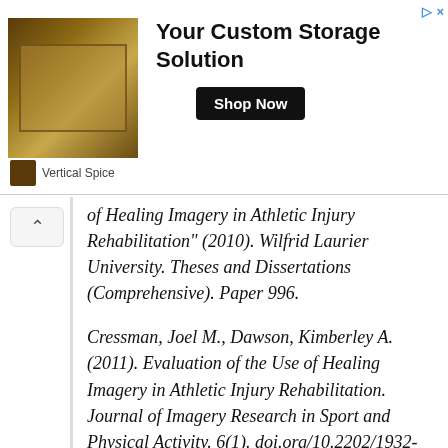[Figure (screenshot): Advertisement banner for 'Your Custom Storage Solution' by Vertical Spice, showing shelving/spice rack product image, bold headline, and a 'Shop Now' button.]
of Healing Imagery in Athletic Injury Rehabilitation” (2010). Wilfrid Laurier University. Theses and Dissertations (Comprehensive). Paper 996.
Cressman, Joel M., Dawson, Kimberley A. (2011). Evaluation of the Use of Healing Imagery in Athletic Injury Rehabilitation. Journal of Imagery Research in Sport and Physical Activity. 6(1). doi.org/10.2202/1932-